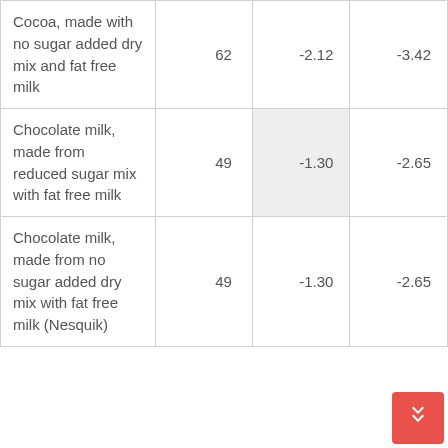| Cocoa, made with no sugar added dry mix and fat free milk | 62 | -2.12 | -3.42 |
| Chocolate milk, made from reduced sugar mix with fat free milk | 49 | -1.30 | -2.65 |
| Chocolate milk, made from no sugar added dry mix with fat free milk (Nesquik) | 49 | -1.30 | -2.65 |